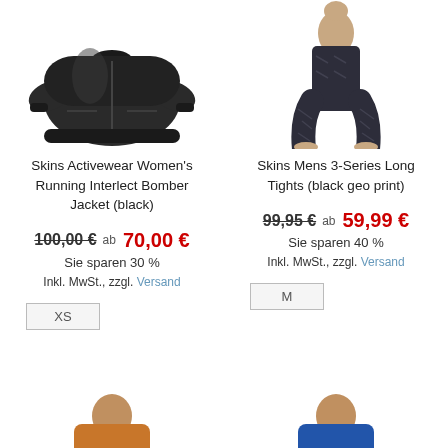[Figure (photo): Skins Activewear Women's Running Interlect Bomber Jacket in black, product photo on white background]
[Figure (photo): Skins Mens 3-Series Long Tights in black geo print, worn by a male model, product photo]
Skins Activewear Women's Running Interlect Bomber Jacket (black)
Skins Mens 3-Series Long Tights (black geo print)
100,00 € ab 70,00 €
Sie sparen 30 %
Inkl. MwSt., zzgl. Versand
XS
99,95 € ab 59,99 €
Sie sparen 40 %
Inkl. MwSt., zzgl. Versand
M
[Figure (photo): Partial product photo bottom left, appears to be a person in orange/tan clothing]
[Figure (photo): Partial product photo bottom right, appears to be a person in blue clothing]